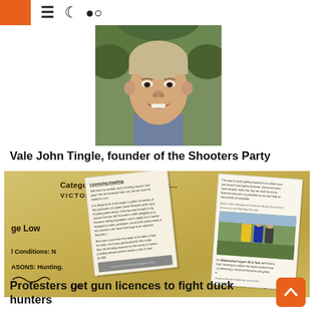≡ ☾ 🔍
[Figure (photo): Portrait photo of a smiling middle-aged man outdoors, with trees in background]
Vale John Tingle, founder of the Shooters Party
[Figure (photo): Photo of a Victoria Australia Category A & B Longarm Licence card with overlaid newspaper clippings about a licencing meeting and duck hunting protesters getting gun licences]
Protesters get gun licences to fight duck hunters